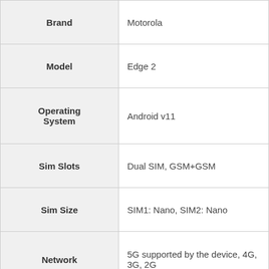| Specification | Value |
| --- | --- |
| Brand | Motorola |
| Model | Edge 2 |
| Operating System | Android v11 |
| Sim Slots | Dual SIM, GSM+GSM |
| Sim Size | SIM1: Nano, SIM2: Nano |
| Network | 5G supported by the device, 4G, 3G, 2G |
| Fingerprint Sensor | Yes |
| Rear Camera | 108 MP + 8 MP + 2 MP |
| Front Camera | 32 MP |